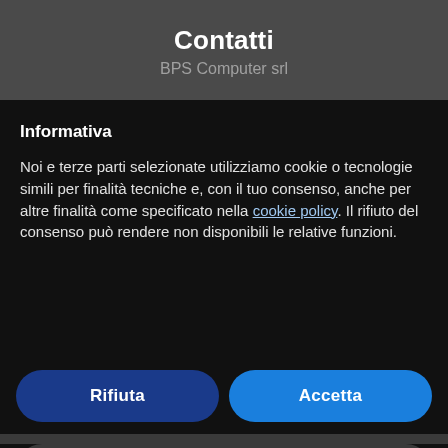Contatti
BPS Computer srl
Informativa
Noi e terze parti selezionate utilizziamo cookie o tecnologie simili per finalità tecniche e, con il tuo consenso, anche per altre finalità come specificato nella cookie policy. Il rifiuto del consenso può rendere non disponibili le relative funzioni.
Rifiuta
Accetta
Scopri di più e personalizza